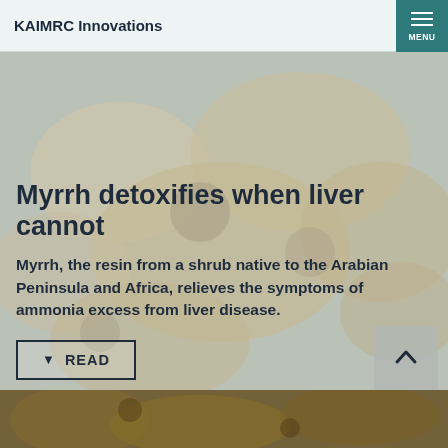KAIMRC Innovations
[Figure (photo): Blurred background photo of myrrh resin pieces in a bowl, warm brown and beige tones]
Myrrh detoxifies when liver cannot
Myrrh, the resin from a shrub native to the Arabian Peninsula and Africa, relieves the symptoms of ammonia excess from liver disease.
READ